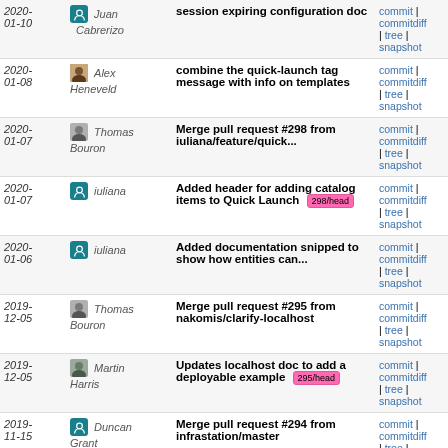| Date | Author | Message | Links |
| --- | --- | --- | --- |
| 2020-01-10 | Juan Cabrerizo | session expiring configuration doc | commit | commitdiff | tree | snapshot |
| 2020-01-08 | Alex Heneveld | combine the quick-launch tag message with info on templates | commit | commitdiff | tree | snapshot |
| 2020-01-07 | Thomas Bouron | Merge pull request #298 from iuliana/feature/quick... | commit | commitdiff | tree | snapshot |
| 2020-01-07 | iuliana | Added header for adding catalog items to Quick Launch 298/head | commit | commitdiff | tree | snapshot |
| 2020-01-06 | iuliana | Added documentation snipped to show how entities can... | commit | commitdiff | tree | snapshot |
| 2019-12-05 | Thomas Bouron | Merge pull request #295 from nakomis/clarify-localhost | commit | commitdiff | tree | snapshot |
| 2019-12-05 | Martin Harris | Updates localhost doc to add a deployable example 295/head | commit | commitdiff | tree | snapshot |
| 2019-11-15 | Duncan Grant | Merge pull request #294 from infrastation/master | commit | commitdiff | tree | snapshot |
| 2019-10-03 | Denis Ovsienko | Refine the previous comment about ssh-keygen 294/head | commit | commitdiff | tree | snapshot |
| 2019-09-18 | Thomas Bouron | Merge pull request #293 from nakomis/fix/ssh-keygen... | commit | commitdiff | tree | snapshot |
| 2019- | Martin | Updates instructions for generating | commit | commitdiff |